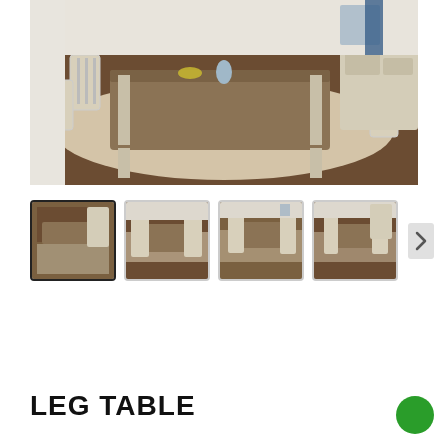[Figure (photo): Dining room set with white-painted chairs and a farmhouse style table on a tan rug, dark wood floor, sideboard in background]
[Figure (photo): Thumbnail 1 (selected): same dining room set, angled view]
[Figure (photo): Thumbnail 2: dining room set, side view]
[Figure (photo): Thumbnail 3: dining room set, front view]
[Figure (photo): Thumbnail 4: dining room set, another angle]
LEG TABLE